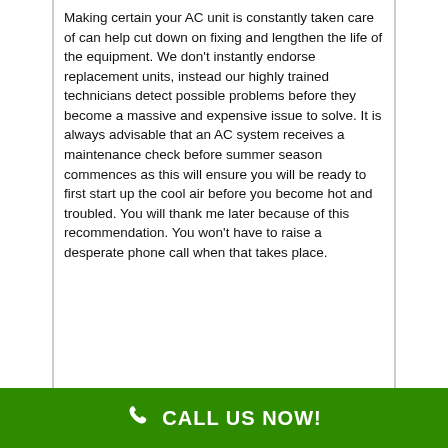Making certain your AC unit is constantly taken care of can help cut down on fixing and lengthen the life of the equipment. We don't instantly endorse replacement units, instead our highly trained technicians detect possible problems before they become a massive and expensive issue to solve. It is always advisable that an AC system receives a maintenance check before summer season commences as this will ensure you will be ready to first start up the cool air before you become hot and troubled. You will thank me later because of this recommendation. You won't have to raise a desperate phone call when that takes place.
CALL US NOW!